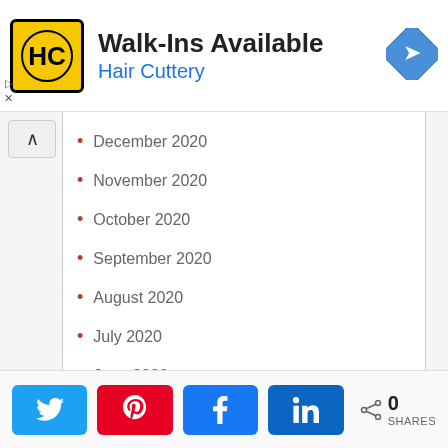[Figure (logo): Hair Cuttery advertisement banner with HC logo, 'Walk-Ins Available' text, and a blue diamond directions icon]
December 2020
November 2020
October 2020
September 2020
August 2020
July 2020
June 2020
May 2020